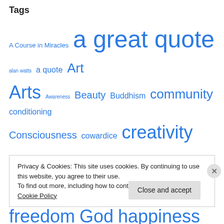Tags
A Course in Miracles  a great quote  alan watts  a quote  Art  Arts  Awareness  Beauty  Buddhism  community  conditioning  Consciousness  cowardice  creativity  depression  ego  emotion  energy  environment  faith  fate  fear  freedom  God  happiness  healing  Health  Human  human-rights  human nature  Illusion  inspiration  Joseph Campbell  joy  knowledge  krishnamurti  Life  Literature  Love  mental-health  Mind  music  now  peace  people
Privacy & Cookies: This site uses cookies. By continuing to use this website, you agree to their use.
To find out more, including how to control cookies, see here: Cookie Policy